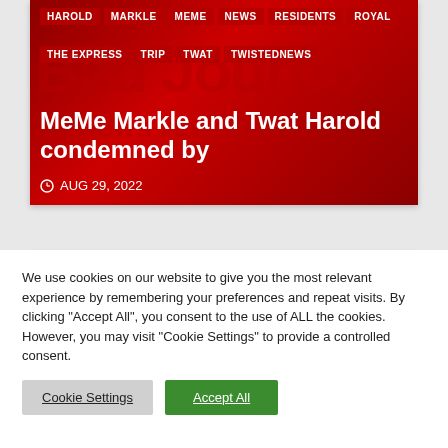[Figure (screenshot): Article card with red background showing tags HAROLD, MARKLE, MEME, NEWS, RESIDENTS, ROYAL, THE EXPRESS, TRIP, TWAT, TWISTEDNEWS, watermark text 'Bad Journo' and 'uk news rewritten', article title 'MeMe Markle and Twat Harold condemned by', and date AUG 29, 2022]
We use cookies on our website to give you the most relevant experience by remembering your preferences and repeat visits. By clicking "Accept All", you consent to the use of ALL the cookies. However, you may visit "Cookie Settings" to provide a controlled consent.